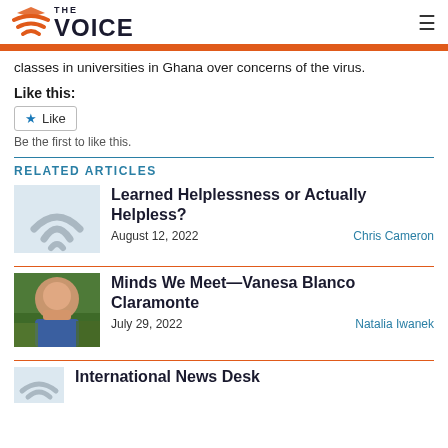THE VOICE
classes in universities in Ghana over concerns of the virus.
Like this:
Like
Be the first to like this.
RELATED ARTICLES
Learned Helplessness or Actually Helpless?
August 12, 2022   Chris Cameron
Minds We Meet—Vanesa Blanco Claramonte
July 29, 2022   Natalia Iwanek
International News Desk